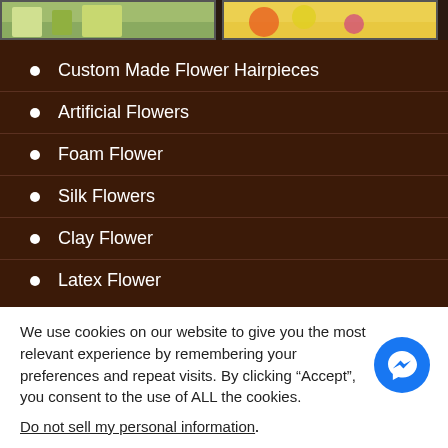[Figure (photo): Two cropped flower/garden photos side by side at top of page]
Custom Made Flower Hairpieces
Artificial Flowers
Foam Flower
Silk Flowers
Clay Flower
Latex Flower
We use cookies on our website to give you the most relevant experience by remembering your preferences and repeat visits. By clicking “Accept”, you consent to the use of ALL the cookies.
Do not sell my personal information.
Cookie settings   ACCEPT